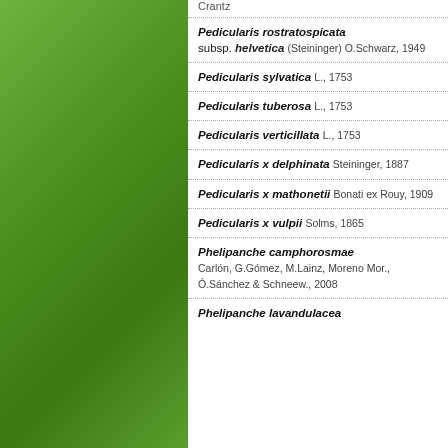Crantz
Pedicularis rostratospicata subsp. helvetica (Steininger) O.Schwarz, 1949
Pedicularis sylvatica L., 1753
Pedicularis tuberosa L., 1753
Pedicularis verticillata L., 1753
Pedicularis x delphinata Steininger, 1887
Pedicularis x mathonetii Bonati ex Rouy, 1909
Pedicularis x vulpii Solms, 1865
Phelipanche camphorosmae Carlón, G.Gómez, M.Lainz, Moreno Mor., Ó.Sánchez & Schneew., 2008
Phelipanche lavandulacea